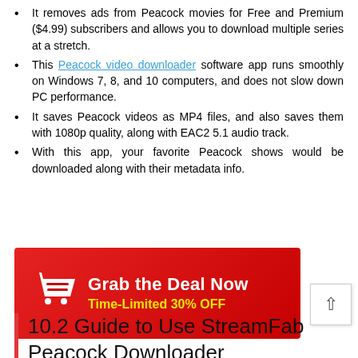It removes ads from Peacock movies for Free and Premium ($4.99) subscribers and allows you to download multiple series at a stretch.
This Peacock video downloader software app runs smoothly on Windows 7, 8, and 10 computers, and does not slow down PC performance.
It saves Peacock videos as MP4 files, and also saves them with 1080p quality, along with EAC2 5.1 audio track.
With this app, your favorite Peacock shows would be downloaded along with their metadata info.
[Figure (infographic): Red promotional banner with shopping cart icon, white bold text 'Grab the Deal Now' and yellow bold text 'Time-Limited 30% OFF']
10.2 Guide to Use StreamFab Peacock Downloader